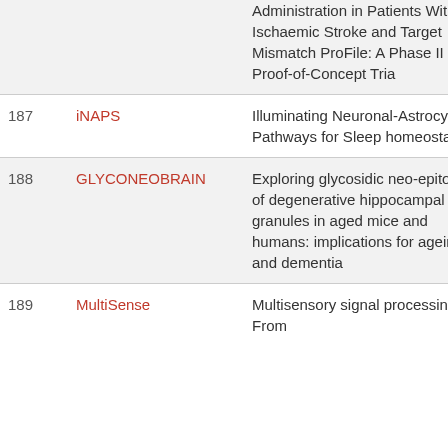| # | Acronym | Title |
| --- | --- | --- |
|  |  | Administration in Patients With Ischaemic Stroke and Target Mismatch ProFile: A Phase II Proof-of-Concept Trial |
| 187 | iNAPS | Illuminating Neuronal-Astrocytic Pathways for Sleep homeostasis |
| 188 | GLYCONEOBRAIN | Exploring glycosidic neo-epitopes of degenerative hippocampal granules in aged mice and humans: implications for ageing and dementia |
| 189 | MultiSense | Multisensory signal processing: From |